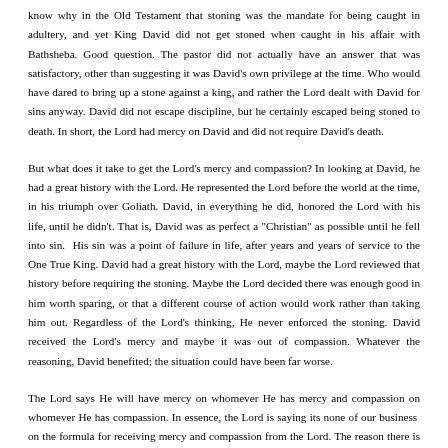know why in the Old Testament that stoning was the mandate for being caught in adultery, and yet King David did not get stoned when caught in his affair with Bathsheba. Good question. The pastor did not actually have an answer that was satisfactory, other than suggesting it was David's own privilege at the time. Who would have dared to bring up a stone against a king, and rather the Lord dealt with David for sins anyway. David did not escape discipline, but he certainly escaped being stoned to death. In short, the Lord had mercy on David and did not require David's death.
But what does it take to get the Lord's mercy and compassion? In looking at David, he had a great history with the Lord. He represented the Lord before the world at the time, in his triumph over Goliath. David, in everything he did, honored the Lord with his life, until he didn't. That is, David was as perfect a "Christian" as possible until he fell into sin. His sin was a point of failure in life, after years and years of service to the One True King. David had a great history with the Lord, maybe the Lord reviewed that history before requiring the stoning. Maybe the Lord decided there was enough good in him worth sparing, or that a different course of action would work rather than taking him out. Regardless of the Lord's thinking, He never enforced the stoning. David received the Lord's mercy and maybe it was out of compassion. Whatever the reasoning, David benefited; the situation could have been far worse.
The Lord says He will have mercy on whomever He has mercy and compassion on whomever He has compassion. In essence, the Lord is saying its none of our business on the formula for receiving mercy and compassion from the Lord. The reason there is no formula is because man would try to